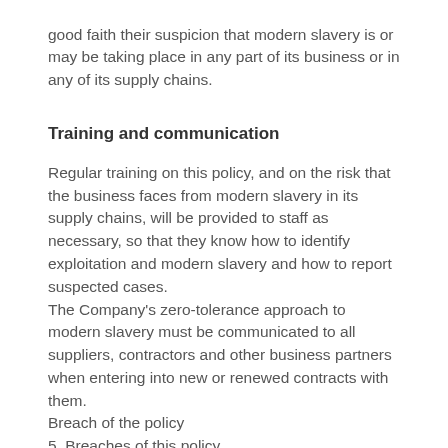good faith their suspicion that modern slavery is or may be taking place in any part of its business or in any of its supply chains.
Training and communication
Regular training on this policy, and on the risk that the business faces from modern slavery in its supply chains, will be provided to staff as necessary, so that they know how to identify exploitation and modern slavery and how to report suspected cases. The Company's zero-tolerance approach to modern slavery must be communicated to all suppliers, contractors and other business partners when entering into new or renewed contracts with them. Breach of the policy
5. Breaches of this policy
Breaches of this policy